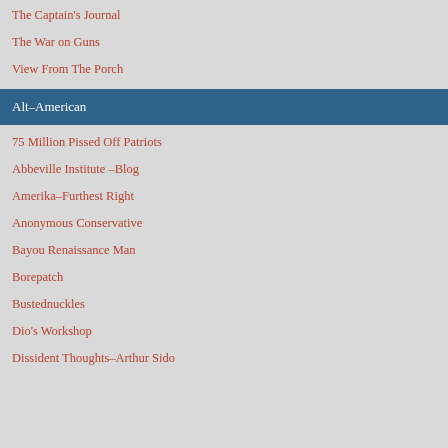The Captain's Journal
The War on Guns
View From The Porch
Alt–American
75 Million Pissed Off Patriots
Abbeville Institute –Blog
Amerika–Furthest Right
Anonymous Conservative
Bayou Renaissance Man
Borepatch
Bustednuckles
Dio's Workshop
Dissident Thoughts–Arthur Sido